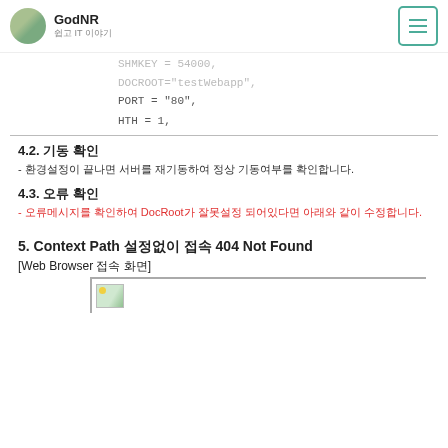GodNR 쉽고 IT 이야기
SHMKEY = 54000, DOCROOT="testWebapp",
PORT = "80",
HTH = 1,
4.2. 기동 확인
- 환경설정이 끝나면 서버를 재기동하여 정상 기동여부를 확인합니다.
4.3. 오류 확인
- 오류메시지를 확인하여 DocRoot가 잘못설정 되어있다면 아래와 같이 수정합니다.
5. Context Path 설정없이 접속 404 Not Found
[Web Browser 접속 화면]
[Figure (screenshot): Web browser screenshot showing a webpage, partial view with small image icon visible]